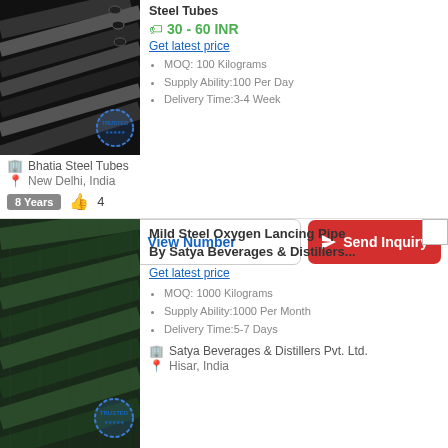[Figure (photo): Black steel tubes/pipes product photo with TRUSTED badge]
Steel Tubes
30 - 60 INR
Get latest price
MOQ: 100 Kilograms
Supply Ability:100 Per Day
Delivery Time:3-4 Week
Bhatia Steel Tubes
New Delhi, India
8 Years  👍 4
[Figure (other): Action buttons: WhatsApp, View Number, Send Inquiry]
[Figure (photo): Dark green mild steel oxygen lancing pipes product photo with TRUSTED badge]
Mild Steel Oxygen Lancing Pipe By Satya Beverages & Distillers...
Get latest price
MOQ: 1000 Kilograms
Supply Ability:1000 Per Month
Delivery Time:5-7 Days
Satya Beverages & Distillers Pvt. Ltd.
Hisar, India